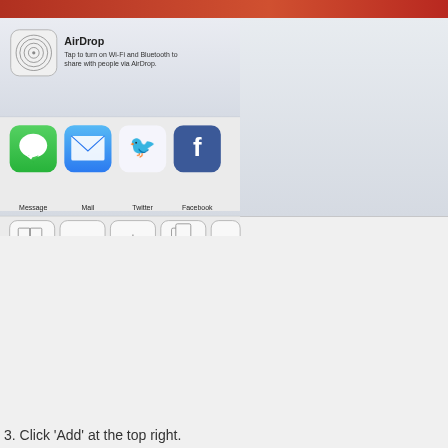[Figure (screenshot): iOS Share Sheet screenshot showing AirDrop option at top with icon and description, social sharing row with Message, Mail, Twitter, Facebook app icons, action row with Bookmark, Add to Reading List, Add to Home Screen, Copy icons, and a Cancel button.]
3. Click 'Add' at the top right.